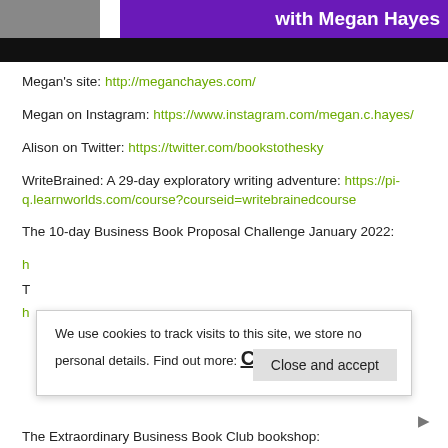[Figure (screenshot): Banner with purple background showing 'with Megan Hayes' text and a small photo on the left, with a black bar below.]
Megan's site: http://meganchayes.com/
Megan on Instagram: https://www.instagram.com/megan.c.hayes/
Alison on Twitter: https://twitter.com/bookstothesky
WriteBrained: A 29-day exploratory writing adventure: https://pi-q.learnworlds.com/course?courseid=writebrainedcourse
The 10-day Business Book Proposal Challenge January 2022:
h[partially visible URL]
T[partially visible text]
h[partially visible URL]
We use cookies to track visits to this site, we store no personal details. Find out more: Cookie Policy  [Close and accept button]
The Extraordinary Business Book Club bookshop: